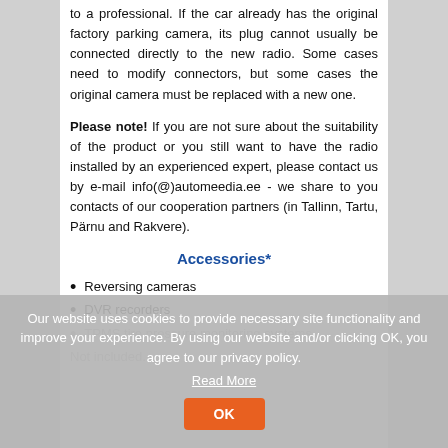to a professional. If the car already has the original factory parking camera, its plug cannot usually be connected directly to the new radio. Some cases need to modify connectors, but some cases the original camera must be replaced with a new one.
Please note! If you are not sure about the suitability of the product or you still want to have the radio installed by an experienced expert, please contact us by e-mail info(@)automeedia.ee - we share to you contacts of our cooperation partners (in Tallinn, Tartu, Pärnu and Rakvere).
Accessories*
Reversing cameras
DVR recorders
TPMS tire pressure monitoring systems
Our website uses cookies to provide necessary site functionality and improve your experience. By using our website and/or clicking OK, you agree to our privacy policy.
Read More